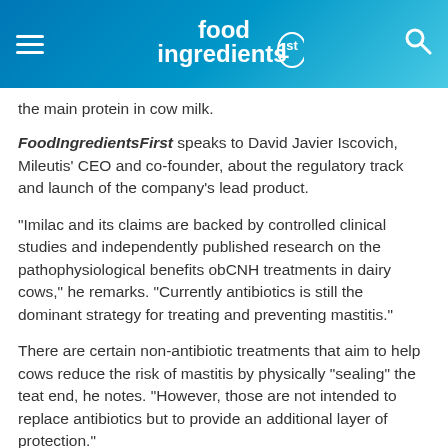food ingredients 1st
the main protein in cow milk.
FoodIngredientsFirst speaks to David Javier Iscovich, Mileutis' CEO and co-founder, about the regulatory track and launch of the company's lead product.
“Imilac and its claims are backed by controlled clinical studies and independently published research on the pathophysiological benefits obCNH treatments in dairy cows,” he remarks. “Currently antibiotics is still the dominant strategy for treating and preventing mastitis.”
There are certain non-antibiotic treatments that aim to help cows reduce the risk of mastitis by physically “sealing” the teat end, he notes. “However, those are not intended to replace antibiotics but to provide an additional layer of protection.”
“To the best of our knowledge, there are no other antibiotic-free science-based alternatives with clinical trials to support the above referenced claims.”